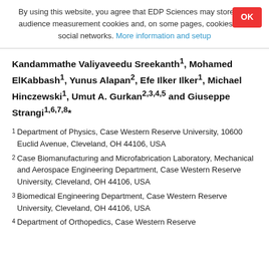By using this website, you agree that EDP Sciences may store web audience measurement cookies and, on some pages, cookies from social networks. More information and setup
Kandammathe Valiyaveedu Sreekanth1, Mohamed ElKabbash1, Yunus Alapan2, Efe Ilker Ilker1, Michael Hinczewski1, Umut A. Gurkan2,3,4,5 and Giuseppe Strangi1,6,7,8*
1 Department of Physics, Case Western Reserve University, 10600 Euclid Avenue, Cleveland, OH 44106, USA
2 Case Biomanufacturing and Microfabrication Laboratory, Mechanical and Aerospace Engineering Department, Case Western Reserve University, Cleveland, OH 44106, USA
3 Biomedical Engineering Department, Case Western Reserve University, Cleveland, OH 44106, USA
4 Department of Orthopedics, Case Western Reserve